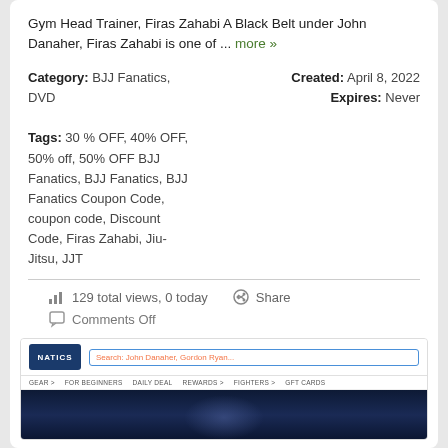Gym Head Trainer, Firas Zahabi A Black Belt under John Danaher, Firas Zahabi is one of ... more »
Category: BJJ Fanatics, DVD
Created: April 8, 2022
Expires: Never
Tags: 30 % OFF, 40% OFF, 50% off, 50% OFF BJJ Fanatics, BJJ Fanatics, BJJ Fanatics Coupon Code, coupon code, Discount Code, Firas Zahabi, Jiu-Jitsu, JJT
129 total views, 0 today
Share
Comments Off
[Figure (screenshot): Screenshot of BJJ Fanatics website showing logo, search bar with placeholder 'Search: John Danaher, Gordon Ryan...', navigation items: GEAR, FOR BEGINNERS, DAILY DEAL, REWARDS, FIGHTERS, GFT CARDS, and a dark hero image at bottom.]